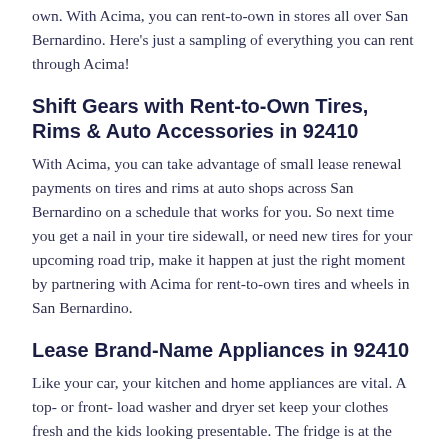own. With Acima, you can rent-to-own in stores all over San Bernardino. Here's just a sampling of everything you can rent through Acima!
Shift Gears with Rent-to-Own Tires, Rims & Auto Accessories in 92410
With Acima, you can take advantage of small lease renewal payments on tires and rims at auto shops across San Bernardino on a schedule that works for you. So next time you get a nail in your tire sidewall, or need new tires for your upcoming road trip, make it happen at just the right moment by partnering with Acima for rent-to-own tires and wheels in San Bernardino.
Lease Brand-Name Appliances in 92410
Like your car, your kitchen and home appliances are vital. A top- or front- load washer and dryer set keep your clothes fresh and the kids looking presentable. The fridge is at the heart of your home and family. It's the hub for snacks, meals,